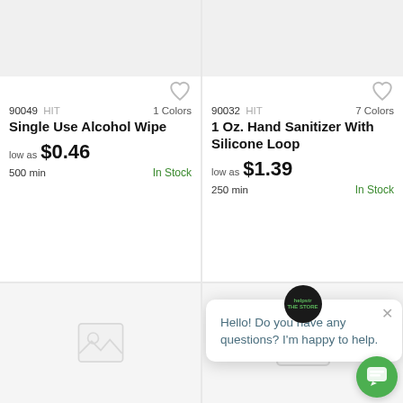[Figure (screenshot): Product listing card for Single Use Alcohol Wipe with gray image placeholder at top]
90049 HIT   1 Colors
Single Use Alcohol Wipe
low as $0.46
500 min   In Stock
[Figure (screenshot): Product listing card for 1 Oz. Hand Sanitizer With Silicone Loop with gray image placeholder at top]
90032 HIT   7 Colors
1 Oz. Hand Sanitizer With Silicone Loop
low as $1.39
250 min   In Stock
[Figure (screenshot): Bottom left product card with image placeholder]
[Figure (screenshot): Bottom right product card with image placeholder and chat popup overlay. Chat popup says: Hello! Do you have any questions? I'm happy to help.]
Hello! Do you have any questions? I'm happy to help.